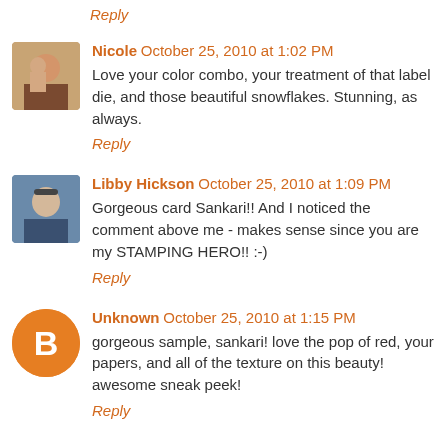Reply
Nicole  October 25, 2010 at 1:02 PM
Love your color combo, your treatment of that label die, and those beautiful snowflakes. Stunning, as always.
Reply
Libby Hickson  October 25, 2010 at 1:09 PM
Gorgeous card Sankari!! And I noticed the comment above me - makes sense since you are my STAMPING HERO!! :-)
Reply
Unknown  October 25, 2010 at 1:15 PM
gorgeous sample, sankari! love the pop of red, your papers, and all of the texture on this beauty! awesome sneak peek!
Reply